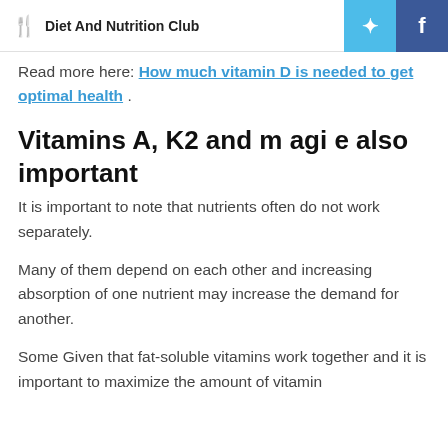Diet And Nutrition Club
Read more here: How much vitamin D is needed to get optimal health .
Vitamins A, K2 and m agi e also important
It is important to note that nutrients often do not work separately.
Many of them depend on each other and increasing absorption of one nutrient may increase the demand for another.
Some Given that fat-soluble vitamins work together and it is important to maximize the amount of vitamin